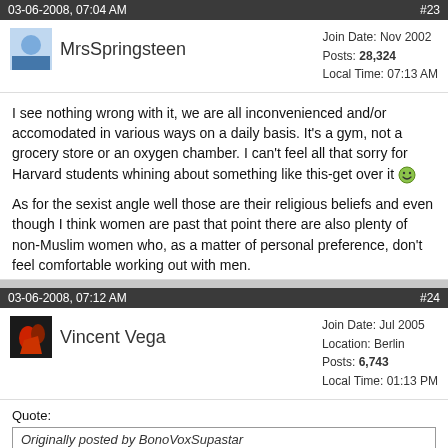03-06-2008, 07:04 AM   #23
MrsSpringsteen — Join Date: Nov 2002, Posts: 28,324, Local Time: 07:13 AM
I see nothing wrong with it, we are all inconvenienced and/or accomodated in various ways on a daily basis. It's a gym, not a grocery store or an oxygen chamber. I can't feel all that sorry for Harvard students whining about something like this-get over it
As for the sexist angle well those are their religious beliefs and even though I think women are past that point there are also plenty of non-Muslim women who, as a matter of personal preference, don't feel comfortable working out with men.
03-06-2008, 07:12 AM   #24
Vincent Vega — Join Date: Jul 2005, Location: Berlin, Posts: 6,743, Local Time: 01:13 PM
Quote: Originally posted by BonoVoxSupastar